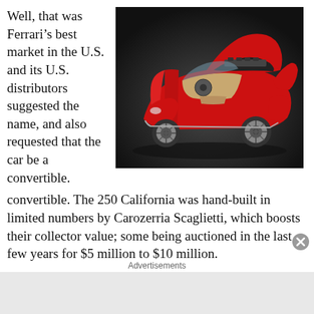Well, that was Ferrari's best market in the U.S. and its U.S. distributors suggested the name, and also requested that the car be a convertible.
[Figure (photo): A red Ferrari 250 California convertible with hood and doors open, showing engine and interior, photographed on dark background]
The 250 California was hand-built in limited numbers by Carozerria Scaglietti, which boosts their collector value; some being auctioned in the last few years for $5 million to $10 million.
The 250 SWB featured a stiffer chassis than its long wheelba
Advertisements